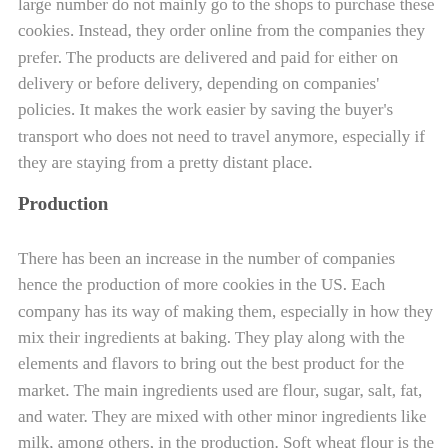large number do not mainly go to the shops to purchase these cookies. Instead, they order online from the companies they prefer. The products are delivered and paid for either on delivery or before delivery, depending on companies' policies. It makes the work easier by saving the buyer's transport who does not need to travel anymore, especially if they are staying from a pretty distant place.
Production
There has been an increase in the number of companies hence the production of more cookies in the US. Each company has its way of making them, especially in how they mix their ingredients at baking. They play along with the elements and flavors to bring out the best product for the market. The main ingredients used are flour, sugar, salt, fat, and water. They are mixed with other minor ingredients like milk, among others, in the production. Soft wheat flour is the